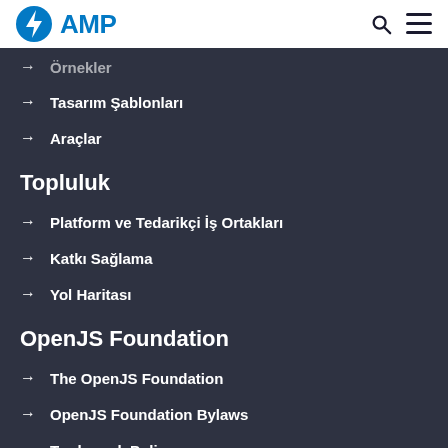AMP
Örnekler
Tasarım Şablonları
Araçlar
Topluluk
Platform ve Tedarikçi İş Ortakları
Katkı Sağlama
Yol Haritası
OpenJS Foundation
The OpenJS Foundation
OpenJS Foundation Bylaws
Trademark Policy
Trademark List